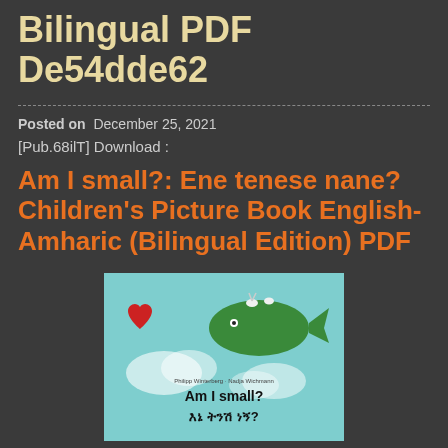English Amharic Bilingual PDF De54dde62
Posted on  December 25, 2021
[Pub.68ilT] Download :
Am I small?: Ene tenese nane? Children’s Picture Book English-Amharic (Bilingual Edition) PDF
[Figure (illustration): Book cover of 'Am I small?' children's picture book showing a teal/mint background with a green whale and small figures, a red heart, clouds. Text on cover reads 'Am I small?' and Amharic text 'እኔ ትንሽ ነኝ?']